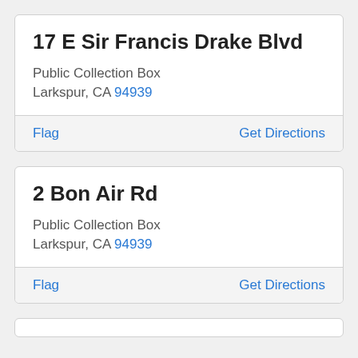17 E Sir Francis Drake Blvd
Public Collection Box
Larkspur, CA 94939
Flag
Get Directions
2 Bon Air Rd
Public Collection Box
Larkspur, CA 94939
Flag
Get Directions